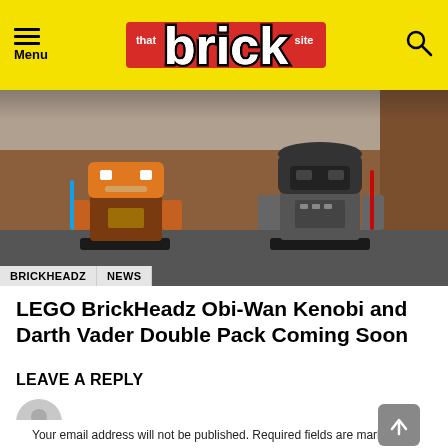Menu | that brick site | (search icon)
[Figure (photo): Two LEGO BrickHeadz figures: Obi-Wan Kenobi (orange/brown) on the left and Darth Vader (grey/black) on the right, displayed on a table with a wooden background.]
BRICKHEADZ   NEWS
LEGO BrickHeadz Obi-Wan Kenobi and Darth Vader Double Pack Coming Soon
LEAVE A REPLY
Your email address will not be published. Required fields are marked *